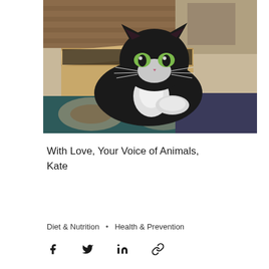[Figure (photo): A black and white long-haired cat with bright green eyes sitting inside a cardboard box on a patterned rug, with wooden furniture in the background.]
With Love, Your Voice of Animals,
Kate
Diet & Nutrition  •  Health & Prevention
[Figure (other): Social sharing icons: Facebook, Twitter, LinkedIn, and a link/chain icon]